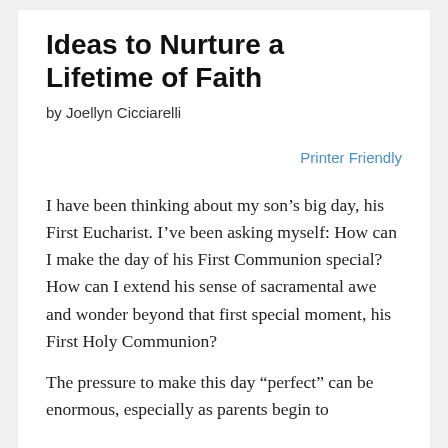Ideas to Nurture a Lifetime of Faith
by Joellyn Cicciarelli
Printer Friendly
I have been thinking about my son’s big day, his First Eucharist. I’ve been asking myself: How can I make the day of his First Communion special? How can I extend his sense of sacramental awe and wonder beyond that first special moment, his First Holy Communion?
The pressure to make this day “perfect” can be enormous, especially as parents begin to